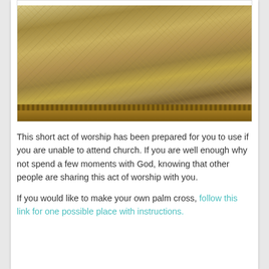[Figure (photo): A basket filled with palm fronds/strips, cross-hatched and bundled, photographed from above showing the woven basket edge at the bottom.]
This short act of worship has been prepared for you to use if you are unable to attend church.  If you are well enough why not spend a few moments with God, knowing that other people are sharing this act of worship with you.
If you would like to make your own palm cross, follow this link for one possible place with instructions.